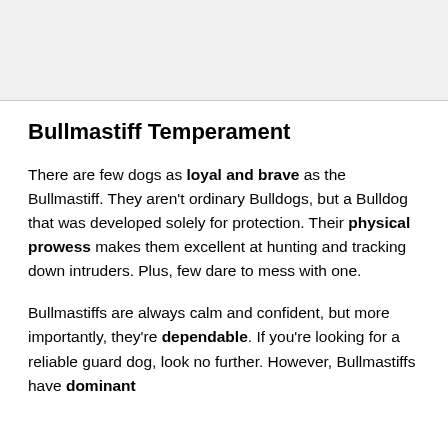[Figure (other): Top image area, light gray background placeholder]
Bullmastiff Temperament
There are few dogs as loyal and brave as the Bullmastiff. They aren't ordinary Bulldogs, but a Bulldog that was developed solely for protection. Their physical prowess makes them excellent at hunting and tracking down intruders. Plus, few dare to mess with one.
Bullmastiffs are always calm and confident, but more importantly, they're dependable. If you're looking for a reliable guard dog, look no further. However, Bullmastiffs have dominant